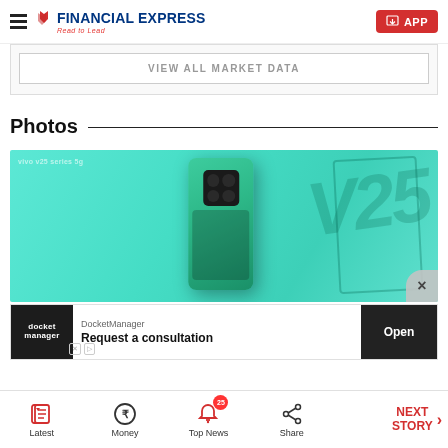Financial Express — Read to Lead | APP
VIEW ALL MARKET DATA
Photos
[Figure (photo): Vivo V25 smartphone in teal/green color with camera module visible, alongside V25 branding on packaging box]
[Figure (screenshot): DocketManager advertisement banner: Request a consultation — Open button]
Latest | Money | Top News (25) | Share | NEXT STORY →